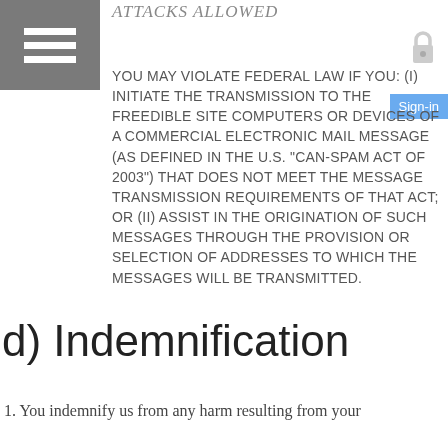ATTACKS ALLOWED
YOU MAY VIOLATE FEDERAL LAW IF YOU: (i) INITIATE THE TRANSMISSION TO THE FREEDIBLE SITE COMPUTERS OR DEVICES OF A COMMERCIAL ELECTRONIC MAIL MESSAGE (AS DEFINED IN THE U.S. "CAN-SPAM ACT OF 2003") THAT DOES NOT MEET THE MESSAGE TRANSMISSION REQUIREMENTS OF THAT ACT; OR (ii) ASSIST IN THE ORIGINATION OF SUCH MESSAGES THROUGH THE PROVISION OR SELECTION OF ADDRESSES TO WHICH THE MESSAGES WILL BE TRANSMITTED.
d)  Indemnification
1. You indemnify us from any harm resulting from your